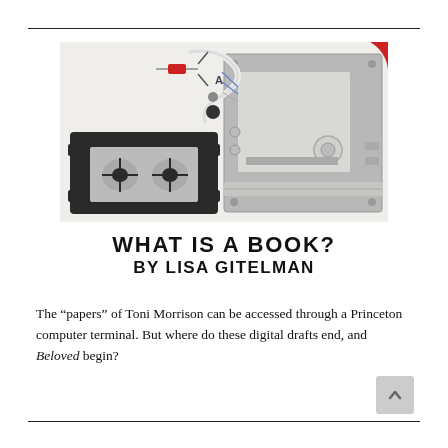[Figure (photo): Photograph of disassembled floppy disk drive or magnetic tape mechanism components laid out on a white background — showing a black plastic tape cartridge casing (left), a metallic drive mechanism frame (right), and loose wiring/components in the center-top area. A red circular element is partially visible at the top right corner.]
WHAT IS A BOOK? BY LISA GITELMAN
The “papers” of Toni Morrison can be accessed through a Princeton computer terminal. But where do these digital drafts end, and Beloved begin?